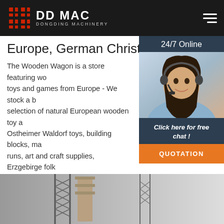DDMAC DONGDING MACHINERY
Europe, German Christmas ...
The Wooden Wagon is a store featuring wooden toys and games from Europe - We stock a big selection of natural European wooden toy and Ostheimer Waldorf toys, building blocks, marble runs, art and craft supplies, Erzgebirge folk Christmas decorations, stuffed animals, and toys for pretend play.
[Figure (photo): Customer service representative woman wearing headset, smiling, with 24/7 Online header and chat/quotation call-to-action buttons]
Click here for free chat !
QUOTATION
Get Price
[Figure (photo): Industrial machinery tower/crane structure photograph at bottom of page]